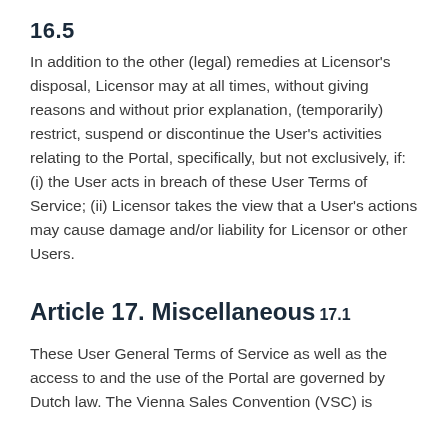16.5
In addition to the other (legal) remedies at Licensor's disposal, Licensor may at all times, without giving reasons and without prior explanation, (temporarily) restrict, suspend or discontinue the User's activities relating to the Portal, specifically, but not exclusively, if: (i) the User acts in breach of these User Terms of Service; (ii) Licensor takes the view that a User's actions may cause damage and/or liability for Licensor or other Users.
Article 17. Miscellaneous
17.1
These User General Terms of Service as well as the access to and the use of the Portal are governed by Dutch law. The Vienna Sales Convention (VSC) is expressly declared inapplicable.